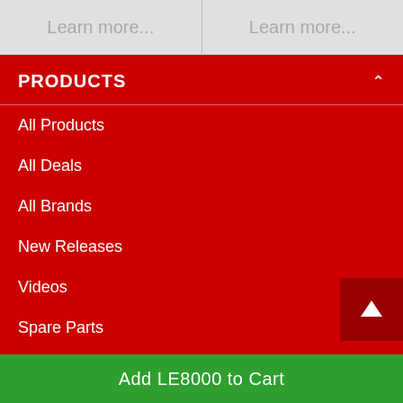Learn more...
Learn more...
PRODUCTS
All Products
All Deals
All Brands
New Releases
Videos
Spare Parts
CUSTOMER
Login or Create an Account
Account Detail
Add LE8000 to Cart